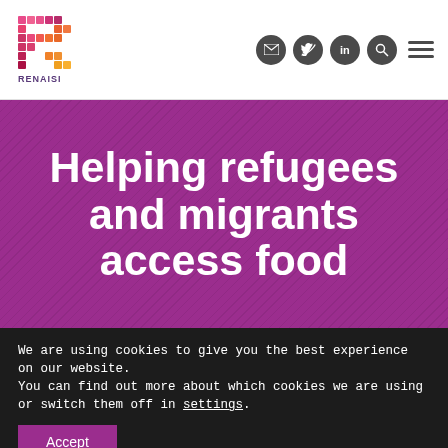[Figure (logo): Renaisi logo - stylized R letter in pink/red/orange mosaic pattern with RENAISI text below]
Renaisi website header with social media icons (email, Twitter, LinkedIn, search) and hamburger menu
Helping refugees and migrants access food
We are using cookies to give you the best experience on our website.
You can find out more about which cookies we are using or switch them off in settings.
Accept